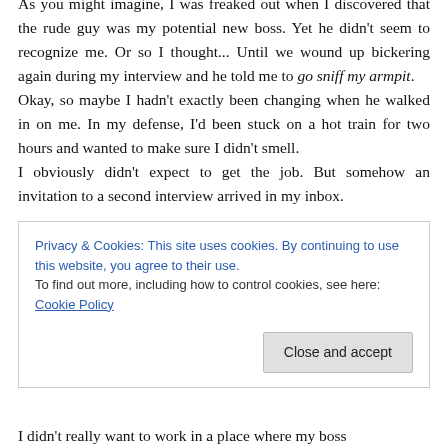As you might imagine, I was freaked out when I discovered that the rude guy was my potential new boss. Yet he didn't seem to recognize me. Or so I thought... Until we wound up bickering again during my interview and he told me to go sniff my armpit. Okay, so maybe I hadn't exactly been changing when he walked in on me. In my defense, I'd been stuck on a hot train for two hours and wanted to make sure I didn't smell. I obviously didn't expect to get the job. But somehow an invitation to a second interview arrived in my inbox.
Privacy & Cookies: This site uses cookies. By continuing to use this website, you agree to their use. To find out more, including how to control cookies, see here: Cookie Policy
I didn't really want to work in a place where my boss